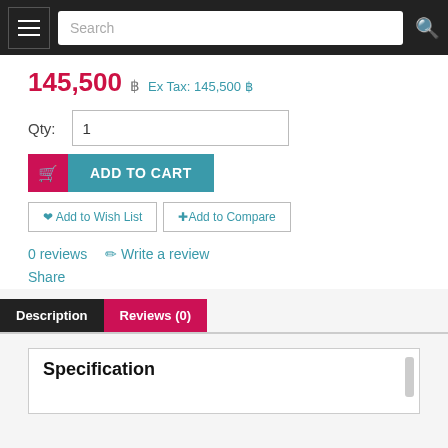Navigation bar with hamburger menu, search box, and search icon
145,500 ฿  Ex Tax: 145,500 ฿
Qty: 1
ADD TO CART
Add to Wish List
Add to Compare
0 reviews   ✏ Write a review
Share
Description   Reviews (0)
Specification